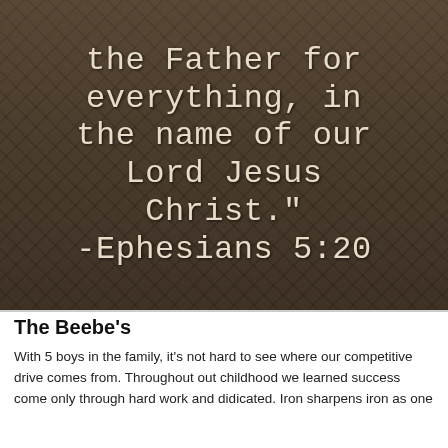[Figure (photo): Sepia-toned photograph of people behind a chain-link fence, overlaid with white typewriter-font text of a Bible verse: 'the Father for everything, in the name of our Lord Jesus Christ.' -Ephesians 5:20]
The Beebe's
With 5 boys in the family, it's not hard to see where our competitive drive comes from. Throughout out childhood we learned success come only through hard work and didicated. Iron sharpens iron as one